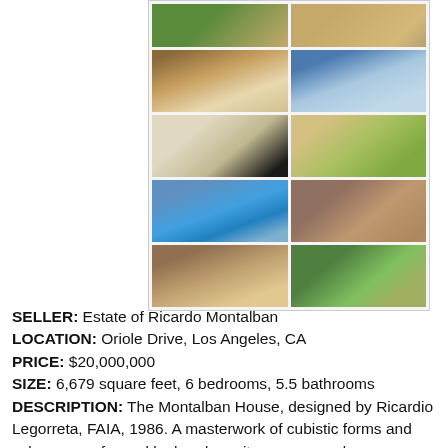[Figure (photo): Grid of 10 property photos showing interior and exterior views of the Montalban House including living areas, kitchen, pool, courtyard, and desert landscape]
SELLER: Estate of Ricardo Montalban
LOCATION: Oriole Drive, Los Angeles, CA
PRICE: $20,000,000
SIZE: 6,679 square feet, 6 bedrooms, 5.5 bathrooms
DESCRIPTION: The Montalban House, designed by Ricardio Legorreta, FAIA, 1986. A masterwork of cubistic forms and volumes are framed by head-on city, canyon and